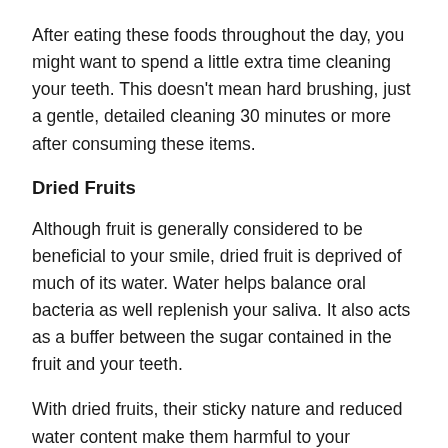After eating these foods throughout the day, you might want to spend a little extra time cleaning your teeth. This doesn't mean hard brushing, just a gentle, detailed cleaning 30 minutes or more after consuming these items.
Dried Fruits
Although fruit is generally considered to be beneficial to your smile, dried fruit is deprived of much of its water. Water helps balance oral bacteria as well replenish your saliva. It also acts as a buffer between the sugar contained in the fruit and your teeth.
With dried fruits, their sticky nature and reduced water content make them harmful to your